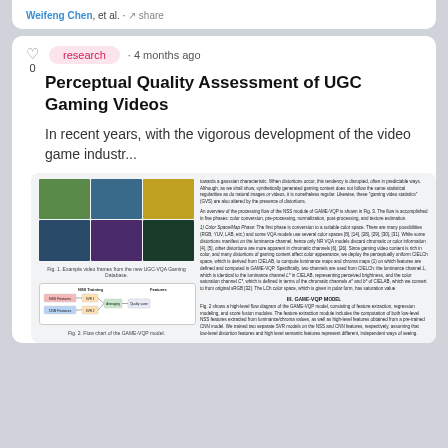Weifeng Chen, et al. · share
research · 4 months ago
Perceptual Quality Assessment of UGC Gaming Videos
In recent years, with the vigorous development of the video game industr...
[Figure (photo): Mosaic of example video frames from the UGC-VQA Gaming Database, showing various gaming scenes]
Fig. 1. Example video frames from the new UGC-VQA Gaming Database.
[Figure (flowchart): Flow diagram of the GAME-VQP model showing NSS Training and Feature modules with CNN features and quality score output]
Fig. 2. Flow chart of the GAME-VQP model.
III. GAME-VQP MODEL
Fig. 2 shows a high-level flow diagram of the GAME-VQP model, consisting of feature extraction, regression modeling, and score fusion modules. The feature extraction module includes the computation of both low-level NSS features extracted from luminance/chroma values, as well as high-level features obtained from a pre-trained CNN model. We trained two separate SVR models on the NSS and CNN features, respectively, assuming that low-level distortion features and high level semantic features represent different, independent ways of seeing. Parameters are fixed in a single way of set.
towards a gaussian characteristic. When distortions occur, this tendency is disrupted, often in predictable ways. Although, as we shall show, synthetically generated gaming content does not follow the same statistical regularities as do natural images or videos, it is nonetheless regular. Likewise, these "gaming video statistics" (GVS) are also altered by the presence of distortions. An overview of the processing flow of the NSS module of GAME-VQP is shown in Fig. 3. The flow is accomplished in five phases: color conversion, pre-processing, normalization, post-processing, and texture estimation.
1) Color Space/Map Phase: The first phase is conversion to a suitable color space. There are many possibilities (RGB, YUV, LAB, etc.) and some VQA models use several color spaces [8], [14], [28], [29], [30], [31]. While some distortions manifest on the luminance channel, hence only NR VQA models discard chromatic or color information [4], [5], other distortions are more apparent in chromatic channels [6], [26]. Since gaming video content is rich in color, and many distortions of gaming content affect color appearance, we deploy the perceptually uniform CIELCh space, which is derived from CIELAB, to compute luminance maps and chroma maps (1) on which features are defined and computed in GAME-VQP. Specifically, two channels are used from CIELCh: the luminance channel L, which is identical to the luminance channel L* in CIELAB, representing perceived brightness, and the color saturation channel C*, which is defined in terms of the chromatic channels a* and b* of CIELAB, which we convert to from original sRGB [32]. The LCh color space, which is given in polar form, has saturation value
C_ab = sqrt(a*^2 + b*^2)
2) Pre-Processing Phase: Fig. 4 shows examples of the pre-processing methods as applied to an exemplar video frame. The 'identity' blocks serve as placeholders by which some or all of the inputs are passed through without modification to the next stage of processing – as explained in the following. The